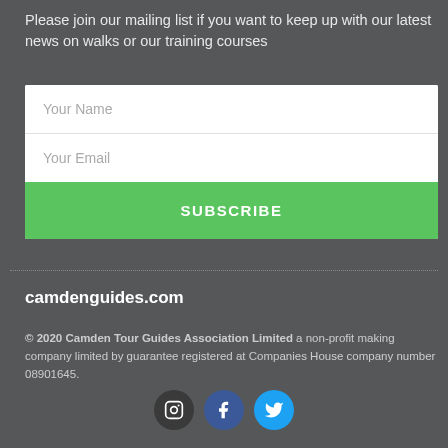Please join our mailing list if you want to keep up with our latest news on walks or our training courses
[Figure (other): Mailing list subscription form with Your Name and Your Email input fields and a green SUBSCRIBE button]
camdenguides.com
© 2020 Camden Tour Guides Association Limited a non-profit making company limited by guarantee registered at Companies House company number 08901645.
[Figure (other): Social media icons: Instagram (dark circle), Facebook (blue circle), Twitter (light blue circle)]